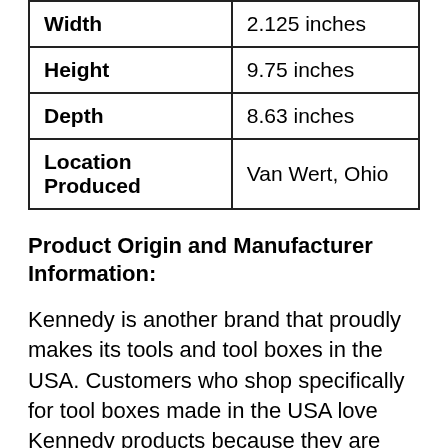| Width | 2.125 inches |
| Height | 9.75 inches |
| Depth | 8.63 inches |
| Location Produced | Van Wert, Ohio |
Product Origin and Manufacturer Information:
Kennedy is another brand that proudly makes its tools and tool boxes in the USA. Customers who shop specifically for tool boxes made in the USA love Kennedy products because they are